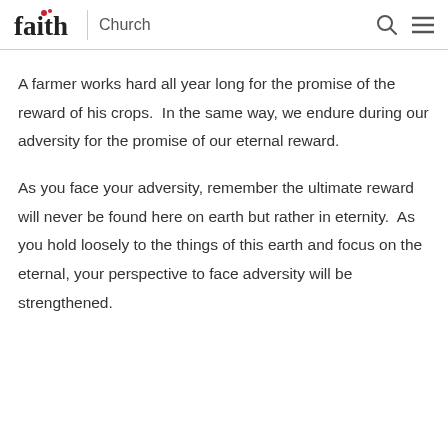faith Church
A farmer works hard all year long for the promise of the reward of his crops.  In the same way, we endure during our adversity for the promise of our eternal reward.
As you face your adversity, remember the ultimate reward will never be found here on earth but rather in eternity.  As you hold loosely to the things of this earth and focus on the eternal, your perspective to face adversity will be strengthened.